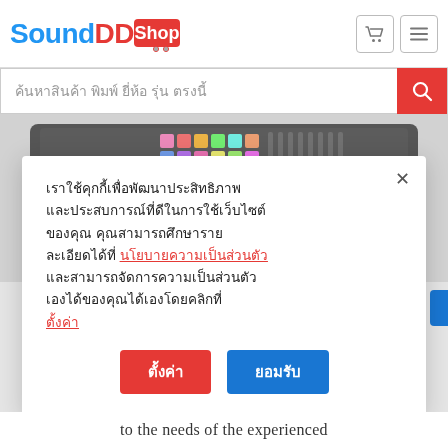SoundDD Shop
ค้นหาสินค้า พิมพ์ ยี่ห้อ รุ่น ตรงนี้
[Figure (photo): MIDI keyboard controller (Novation 49SL MK3) on white background]
เราใช้คุกกี้เพื่อพัฒนาประสิทธิภาพ และประสบการณ์ที่ดีในการใช้เว็บไซต์ของคุณ คุณสามารถศึกษารายละเอียดได้ที่ นโยบายความเป็นส่วนตัว และสามารถจัดการความเป็นส่วนตัวเองได้ของคุณได้เองโดยคลิกที่ ตั้งค่า
ตั้งค่า
ยอมรับ
to the needs of the experienced